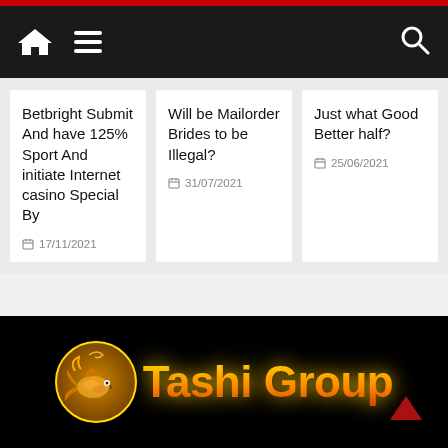Navigation bar with home, menu, search icons
Betbright Submit And have 125% Sport And initiate Internet casino Special By
17/11/2021
Will be Mailorder Brides to be Illegal?
31/07/2021
Just what Good Better half?
25/06/2021
[Figure (logo): Tashi Group logo with orange fish/phoenix emblem and gradient text on black background]